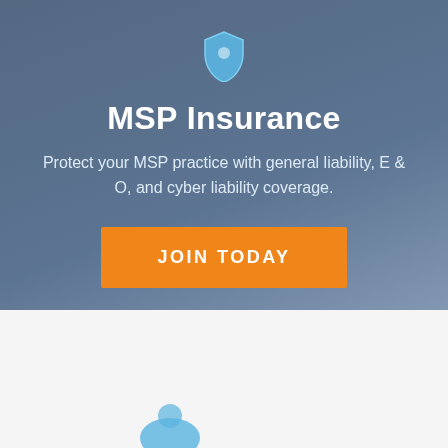[Figure (illustration): Shield icon in light blue color at top center of hero section]
MSP Insurance
Protect your MSP practice with general liability, E & O, and cyber liability coverage.
JOIN TODAY
[Figure (illustration): Chat widget bubble with 'We're Online! How may I help you today?' and a blue circular chat button with speech bubble icon, plus scroll-to-top arrow button]